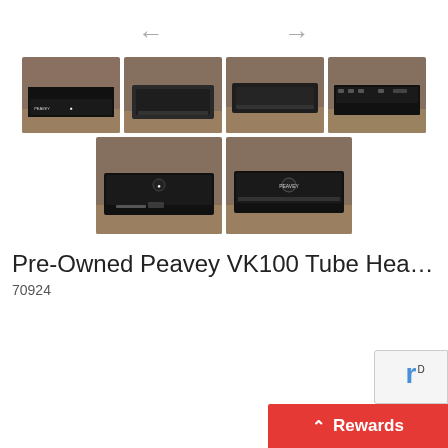[Figure (photo): Navigation arrows (left and right) for image carousel]
[Figure (photo): Thumbnail 1: Peavey VK100 Tube Head amplifier front view on wooden floor against wall]
[Figure (photo): Thumbnail 2: Peavey VK100 Tube Head with black cover, angled view]
[Figure (photo): Thumbnail 3: Peavey VK100 Tube Head with black cover, top/side view]
[Figure (photo): Thumbnail 4: Peavey VK100 Tube Head rear panel view]
[Figure (photo): Thumbnail 5: Peavey VK100 Tube Head front view without cover, with cable]
[Figure (photo): Thumbnail 6: Peavey VK100 Tube Head close front view without cover]
Pre-Owned Peavey VK100 Tube Hea...
70924